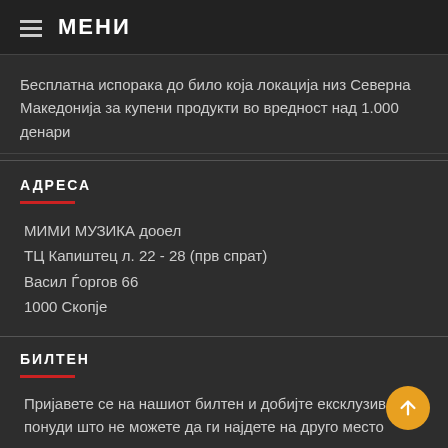МЕНИ
Бесплатна испорака до било која локација низ Северна Македонија за купени продукти во вредност над 1.000 денари
АДРЕСА
МИМИ МУЗИКА дооел
ТЦ Капиштец л. 22 - 28 (прв спрат)
Васил Ѓоргов 66
1000 Скопје
БИЛТЕН
Пријавете се на нашиот билтен и добијте ексклузивни понуди што не можете да ги најдете на друго место